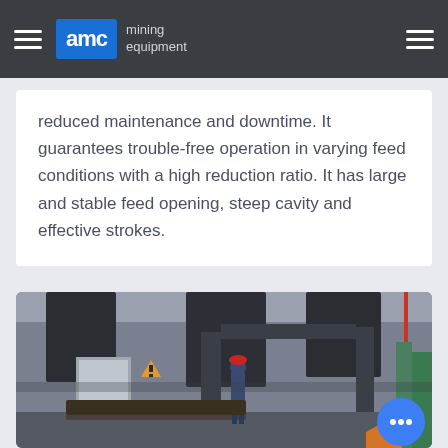AMC mining equipment
reduced maintenance and downtime. It guarantees trouble-free operation in varying feed conditions with a high reduction ratio. It has large and stable feed opening, steep cavity and effective strokes.
[Figure (photo): Factory interior showing large industrial mining equipment with a worker in blue uniform and red hard hat standing among heavy machinery in a manufacturing facility. A partial orange hexagon badge and blue chat button are visible in the lower right corner.]